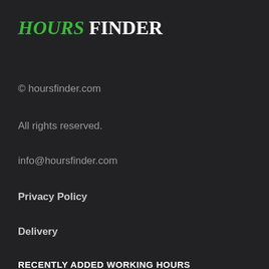HOURS FINDER
© hoursfinder.com
All rights reserved.
info@hoursfinder.com
Privacy Policy
Delivery
RECENTLY ADDED WORKING HOURS
BOB CLARK PLUMBING HOURS
PA DRIVERS LICENSE CENTER BRIDGEVILLE HOURS